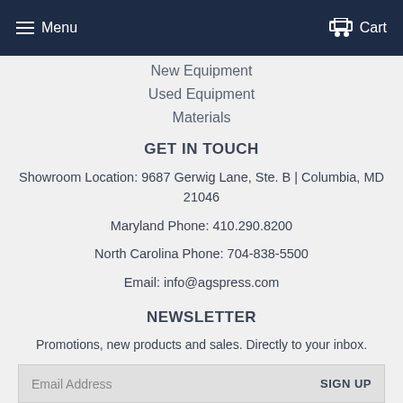Menu  Cart
New Equipment
Used Equipment
Materials
GET IN TOUCH
Showroom Location: 9687 Gerwig Lane, Ste. B | Columbia, MD 21046
Maryland Phone: 410.290.8200
North Carolina Phone: 704-838-5500
Email: info@agspress.com
NEWSLETTER
Promotions, new products and sales. Directly to your inbox.
Email Address  SIGN UP